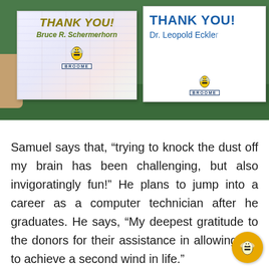[Figure (photo): Photo of two thank-you cards being held up in front of a green background. Left card reads 'THANK YOU! Bruce R. Schermerhorn' with a Broome College logo/bee mascot. Right card reads 'THANK YOU! Dr. Leopold Eckle[r]' with Broome logo.]
Samuel says that, “trying to knock the dust off my brain has been challenging, but also invigoratingly fun!” He plans to jump into a career as a computer technician after he graduates. He says, “My deepest gratitude to the donors for their assistance in allowing me to achieve a second wind in life.”